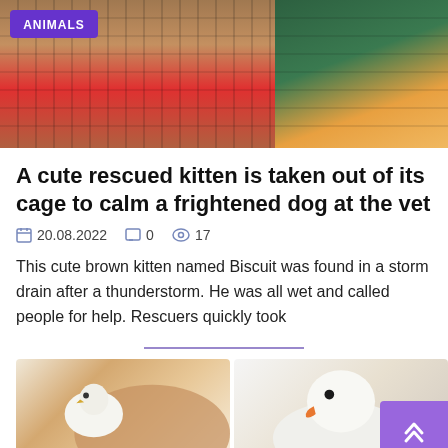[Figure (photo): Hero image showing cats in cages — a tabby cat on red bedding with toys on the left, and an orange/ginger kitten in a cage with a green paw-print blanket on the right. ANIMALS badge overlay in purple.]
A cute rescued kitten is taken out of its cage to calm a frightened dog at the vet
20.08.2022   0   17
This cute brown kitten named Biscuit was found in a storm drain after a thunderstorm. He was all wet and called people for help. Rescuers quickly took
[Figure (photo): Two photos side by side at the bottom of the page: left shows a white bird (cockatiel/parakeet) nestled with a brown cat; right shows a white duck/goose with an orange beak looking at the camera.]